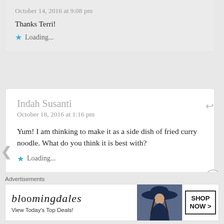October 14, 2016 at 9:08 pm
Thanks Terri!
★ Loading...
Indah Susanti
October 18, 2016 at 1:16 pm
Yum! I am thinking to make it as a side dish of fried curry noodle. What do you think it is best with?
★ Loading...
Advertisements
[Figure (other): Bloomingdales advertisement banner showing logo, 'View Today's Top Deals!', a woman wearing a wide-brim hat, and a 'SHOP NOW >' button]